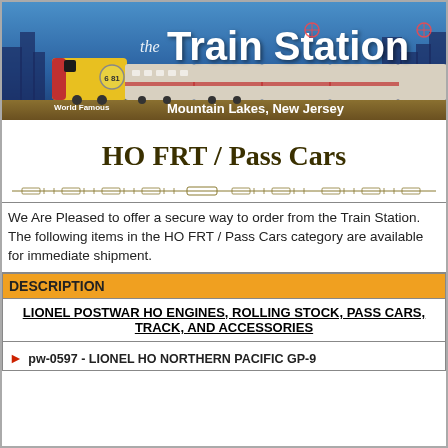[Figure (logo): The Train Station banner with train image, skyline background, World Famous text, Mountain Lakes New Jersey location]
HO FRT / Pass Cars
[Figure (illustration): Decorative horizontal divider with ornamental train track design in olive/gold color]
We Are Pleased to offer a secure way to order from the Train Station. The following items in the HO FRT / Pass Cars category are available for immediate shipment.
| DESCRIPTION |
| --- |
| LIONEL POSTWAR HO ENGINES, ROLLING STOCK, PASS CARS, TRACK, AND ACCESSORIES |
| pw-0597 - LIONEL HO NORTHERN PACIFIC GP-9 |